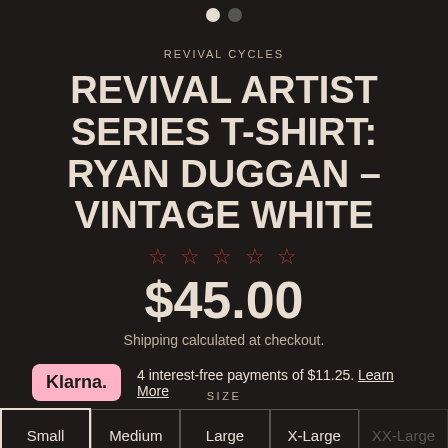REVIVAL CYCLES
REVIVAL ARTIST SERIES T-SHIRT: RYAN DUGGAN – VINTAGE WHITE
$45.00
Shipping calculated at checkout.
4 interest-free payments of $11.25. Learn More
SIZE
Small
Medium
Large
X-Large
XX-Large